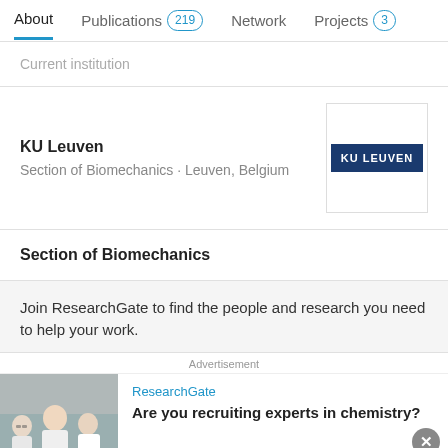About  Publications 219  Network  Projects 3
Current institution
KU Leuven
Section of Biomechanics · Leuven, Belgium
[Figure (logo): KU Leuven logo — dark blue rectangle with white text KU LEUVEN]
Section of Biomechanics
Join ResearchGate to find the people and research you need to help your work.
Advertisement
[Figure (photo): Group of scientists/researchers in white lab coats]
ResearchGate
Are you recruiting experts in chemistry?